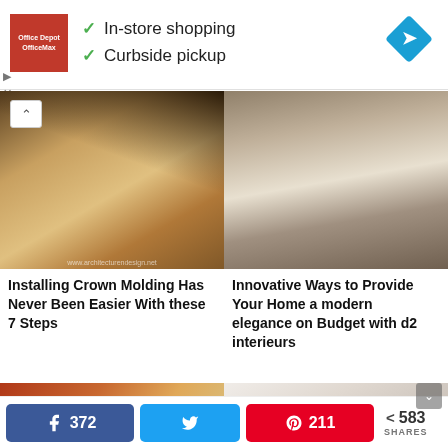[Figure (other): Office Depot OfficeMax advertisement banner with green checkmarks listing 'In-store shopping' and 'Curbside pickup', with a blue navigation arrow icon on the right]
[Figure (photo): Close-up photo of crown molding installation at a ceiling corner, showing wooden trim details]
Installing Crown Molding Has Never Been Easier With these 7 Steps
[Figure (photo): Elegant living room with fireplace, neutral sofa with pillows, hanging pendant lights, and a large plant]
Innovative Ways to Provide Your Home a modern elegance on Budget with d2 interieurs
[Figure (photo): Room interior with warm orange and yellow tones, artwork on walls]
[Figure (photo): Bright bedroom or living space with white/cream tones]
372 (Facebook share count) | Twitter share | 211 (Pinterest share count) | 583 SHARES